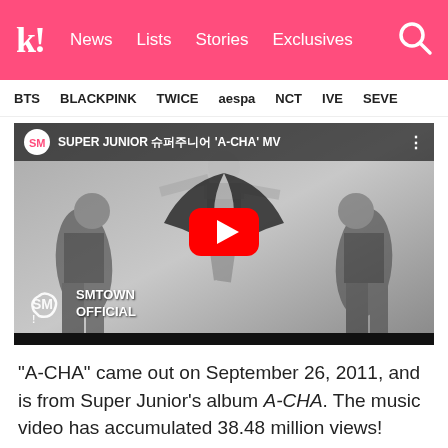k! News  Lists  Stories  Exclusives
BTS  BLACKPINK  TWICE  aespa  NCT  IVE  SEVE
[Figure (screenshot): YouTube video thumbnail for SUPER JUNIOR 슈퍼주니어 'A-CHA' MV by SMTOWN OFFICIAL, showing black and white dancers with YouTube play button overlay]
“A-CHA” came out on September 26, 2011, and is from Super Junior’s album A-CHA. The music video has accumulated 38.48 million views!